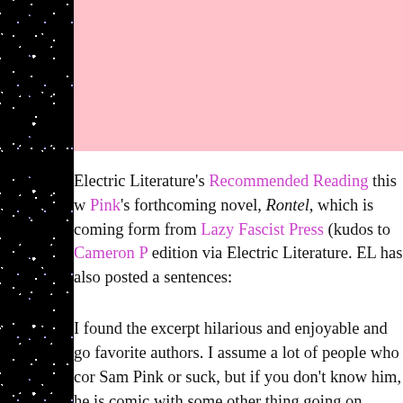[Figure (illustration): Black starfield sidebar on the left side of the page with white and blue star dots on black background]
[Figure (illustration): Pink rectangular block at the top right portion of the page]
Electric Literature's Recommended Reading this w Pink's forthcoming novel, Rontel, which is coming form from Lazy Fascist Press (kudos to Cameron P edition via Electric Literature. EL has also posted a sentences:
I found the excerpt hilarious and enjoyable and go favorite authors. I assume a lot of people who cor Sam Pink or suck, but if you don't know him, he is comic with some other thing going on.
Some excerpts from the excerpt: